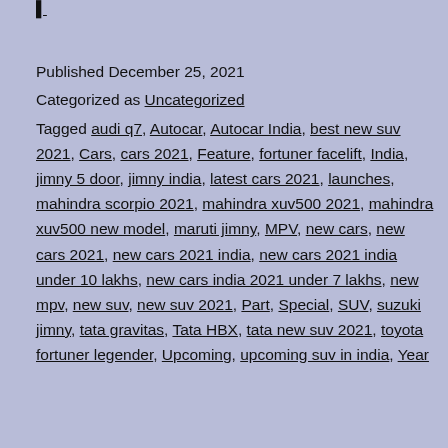Published December 25, 2021
Categorized as Uncategorized
Tagged audi q7, Autocar, Autocar India, best new suv 2021, Cars, cars 2021, Feature, fortuner facelift, India, jimny 5 door, jimny india, latest cars 2021, launches, mahindra scorpio 2021, mahindra xuv500 2021, mahindra xuv500 new model, maruti jimny, MPV, new cars, new cars 2021, new cars 2021 india, new cars 2021 india under 10 lakhs, new cars india 2021 under 7 lakhs, new mpv, new suv, new suv 2021, Part, Special, SUV, suzuki jimny, tata gravitas, Tata HBX, tata new suv 2021, toyota fortuner legender, Upcoming, upcoming suv in india, Year